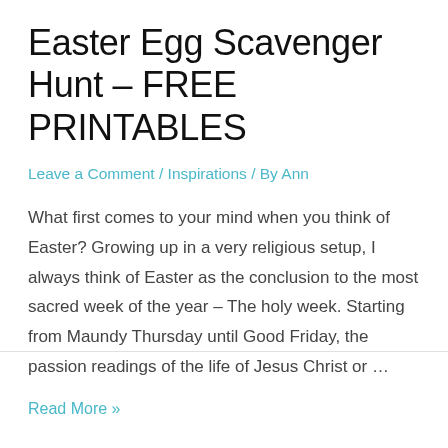Easter Egg Scavenger Hunt – FREE PRINTABLES
Leave a Comment / Inspirations / By Ann
What first comes to your mind when you think of Easter? Growing up in a very religious setup, I always think of Easter as the conclusion to the most sacred week of the year – The holy week. Starting from Maundy Thursday until Good Friday, the passion readings of the life of Jesus Christ or …
Read More »